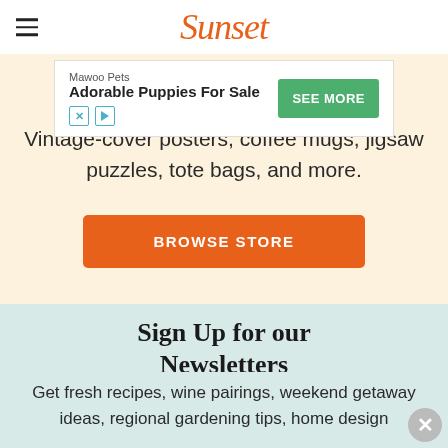Sunset
[Figure (screenshot): Advertisement banner: Mawoo Pets – Adorable Puppies For Sale, with SEE MORE green button and close/play icons]
Vintage-cover posters, coffee mugs, jigsaw puzzles, tote bags, and more.
BROWSE STORE
Sign Up for our Newsletters
Get fresh recipes, wine pairings, weekend getaway ideas, regional gardening tips, home design